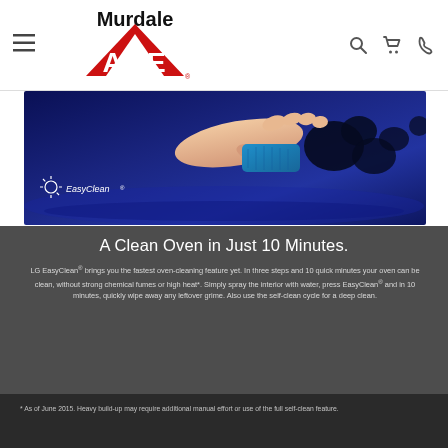Murdale ACE — navigation header with hamburger menu, logo, search, cart, and phone icons
[Figure (photo): A hand using a blue sponge to wipe an oven surface, with the LG EasyClean logo in the lower left corner]
A Clean Oven in Just 10 Minutes.
LG EasyClean® brings you the fastest oven-cleaning feature yet. In three steps and 10 quick minutes your oven can be clean, without strong chemical fumes or high heat*. Simply spray the interior with water, press EasyClean® and in 10 minutes, quickly wipe away any leftover grime. Also use the self-clean cycle for a deep clean.
* As of June 2015. Heavy build-up may require additional manual effort or use of the full self-clean feature.